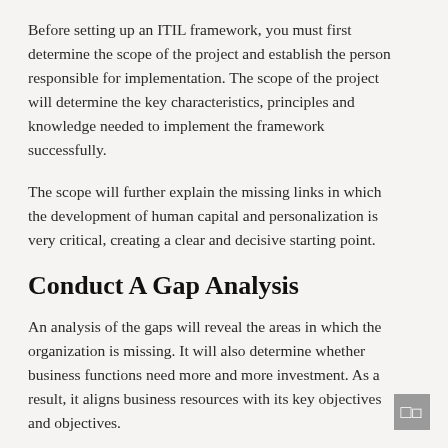Before setting up an ITIL framework, you must first determine the scope of the project and establish the person responsible for implementation. The scope of the project will determine the key characteristics, principles and knowledge needed to implement the framework successfully.
The scope will further explain the missing links in which the development of human capital and personalization is very critical, creating a clear and decisive starting point.
Conduct A Gap Analysis
An analysis of the gaps will reveal the areas in which the organization is missing. It will also determine whether business functions need more and more investment. As a result, it aligns business resources with its key objectives and objectives.
Companies can compare the actual performance of the organization with its desired performance or the performance of its competitors.